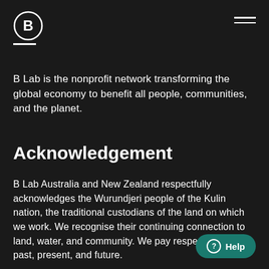[Figure (logo): B Lab logo: circle with letter B inside, with a white underline beneath, white on dark background]
B Lab is the nonprofit network transforming the global economy to benefit all people, communities, and the planet.
Acknowledgement
B Lab Australia and New Zealand respectfully acknowledges the Wurundjeri people of the Kulin nation, the traditional custodians of the land on which we work. We recognise their continuing connection to land, water, and community. We pay respect to elders past, present, and future.